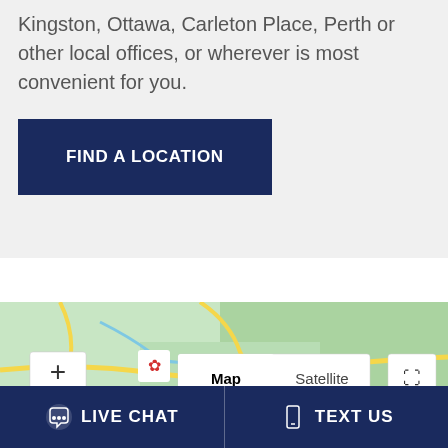Kingston, Ottawa, Carleton Place, Perth or other local offices, or wherever is most convenient for you.
[Figure (other): Dark navy blue button with white bold uppercase text 'FIND A LOCATION']
[Figure (map): Google Maps embed showing a region with Map/Satellite toggle, zoom +/- controls, fullscreen button, and a red location pin marker. Visible labels include 'Algonquin Provincial Park', 'Sai...' partial label, 'A.S...' label.]
LIVE CHAT
TEXT US